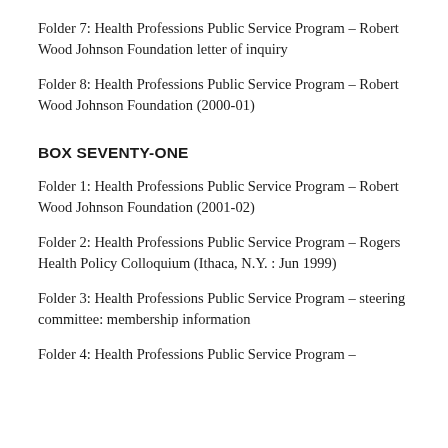Folder 7: Health Professions Public Service Program – Robert Wood Johnson Foundation letter of inquiry
Folder 8: Health Professions Public Service Program – Robert Wood Johnson Foundation (2000-01)
BOX SEVENTY-ONE
Folder 1: Health Professions Public Service Program – Robert Wood Johnson Foundation (2001-02)
Folder 2: Health Professions Public Service Program – Rogers Health Policy Colloquium (Ithaca, N.Y. : Jun 1999)
Folder 3: Health Professions Public Service Program – steering committee: membership information
Folder 4: Health Professions Public Service Program –